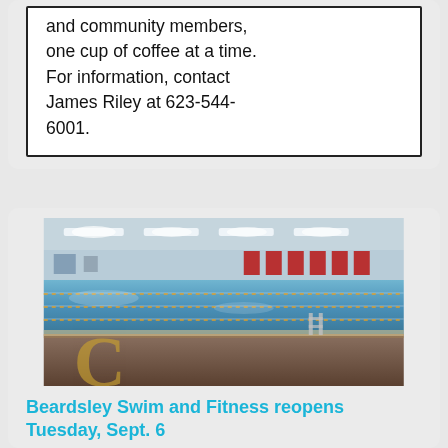and community members, one cup of coffee at a time. For information, contact James Riley at 623-544-6001.
[Figure (photo): Indoor swimming pool with lane lines, overhead lighting, red lane markers on far wall, and decorative floor with large 'C' logo in gold/brown colors.]
Beardsley Swim and Fitness reopens Tuesday, Sept. 6
by scwdigital | Aug 31, 2022 |
Featured Posts, Rec Center -